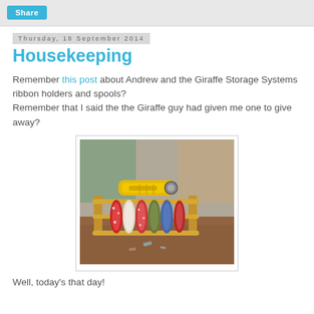Share
Thursday, 18 September 2014
Housekeeping
Remember this post about Andrew and the Giraffe Storage Systems ribbon holders and spools?
Remember that I said the the Giraffe guy had given me one to give away?
[Figure (photo): A wooden ribbon holder/spool storage rack on a wooden table, filled with colorful red, green, and patterned ribbon spools. A yellow tool (rotary cutter) is on top of the rack.]
Well, today's that day!